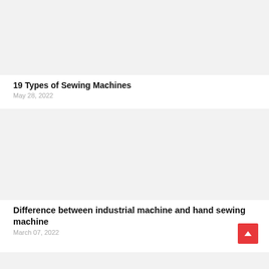[Figure (photo): Light gray placeholder image for article thumbnail]
19 Types of Sewing Machines
May 28, 2022
[Figure (photo): Light gray placeholder image for article thumbnail]
Difference between industrial machine and hand sewing machine
March 07, 2022
[Figure (photo): Light gray placeholder image for third article thumbnail (partial)]